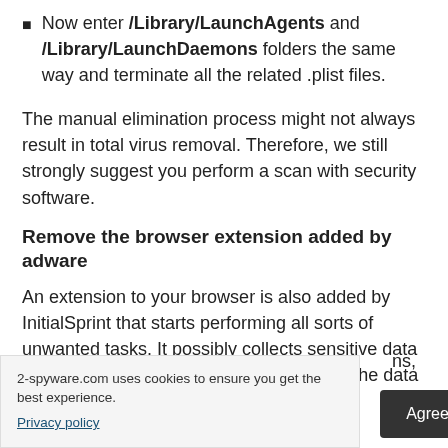Now enter /Library/LaunchAgents and /Library/LaunchDaemons folders the same way and terminate all the related .plist files.
The manual elimination process might not always result in total virus removal. Therefore, we still strongly suggest you perform a scan with security software.
Remove the browser extension added by adware
An extension to your browser is also added by InitialSprint that starts performing all sorts of unwanted tasks. It possibly collects sensitive data and sends it to tracking servers. Some of the data that could be exposed is – IP address, ns, computer ID, ents, daemons,
2-spyware.com uses cookies to ensure you get the best experience.